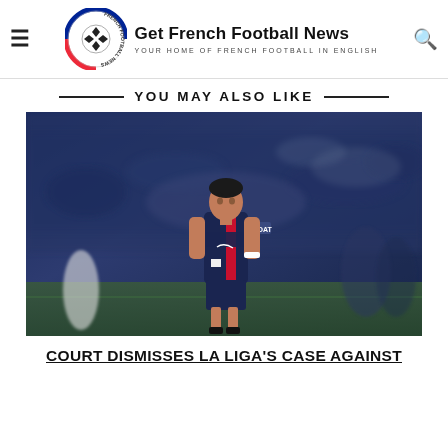Get French Football News — YOUR HOME OF FRENCH FOOTBALL IN ENGLISH
YOU MAY ALSO LIKE
[Figure (photo): A PSG football player wearing a dark navy blue PSG jersey with Qatar Airways sponsor, Nike branding, and GOAT sleeve patch, looking upward on the pitch with a blurred crowd in the background.]
COURT DISMISSES LA LIGA'S CASE AGAINST